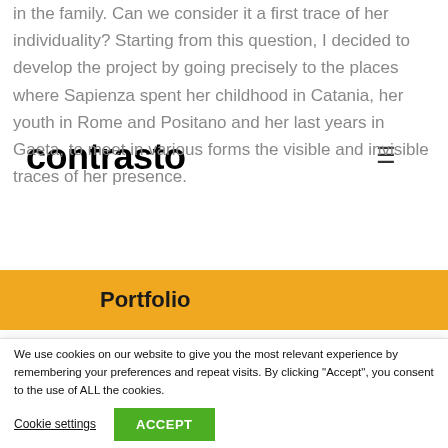contrasto
in the family. Can we consider it a first trace of her individuality? Starting from this question, I decided to develop the project by going precisely to the places where Sapienza spent her childhood in Catania, her youth in Rome and Positano and her last years in Gaeta, to meet in various forms the visible and invisible traces of her presence.
Portfolio
We use cookies on our website to give you the most relevant experience by remembering your preferences and repeat visits. By clicking “Accept”, you consent to the use of ALL the cookies.